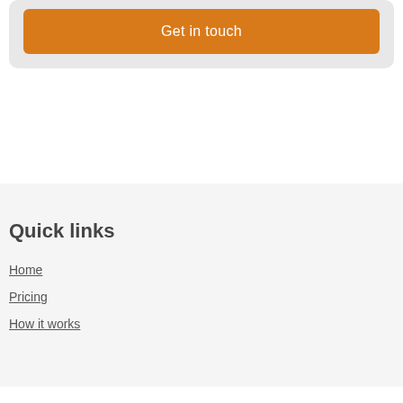[Figure (other): Orange 'Get in touch' button inside a light gray rounded card]
Quick links
Home
Pricing
How it works